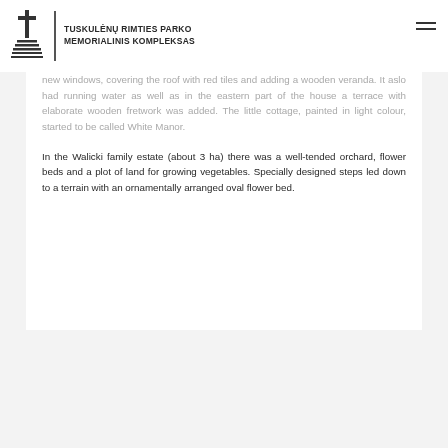TUSKULĖNŲ RIMTIES PARKO MEMORIALINIS KOMPLEKSAS
new windows, covering the roof with red tiles and adding a wooden veranda. It aslo had running water as well as in the eastern part of the house a terrace with elaborate wooden fretwork was added. The little cottage, painted in light colour, started to be called White Manor.
In the Walicki family estate (about 3 ha) there was a well-tended orchard, flower beds and a plot of land for growing vegetables. Specially designed steps led down to a terrain with an ornamentally arranged oval flower bed.